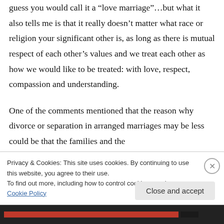guess you would call it a “love marriage”…but what it also tells me is that it really doesn’t matter what race or religion your significant other is, as long as there is mutual respect of each other’s values and we treat each other as how we would like to be treated: with love, respect, compassion and understanding.
One of the comments mentioned that the reason why divorce or separation in arranged marriages may be less could be that the families and the
Privacy & Cookies: This site uses cookies. By continuing to use this website, you agree to their use.
To find out more, including how to control cookies, see here: Cookie Policy